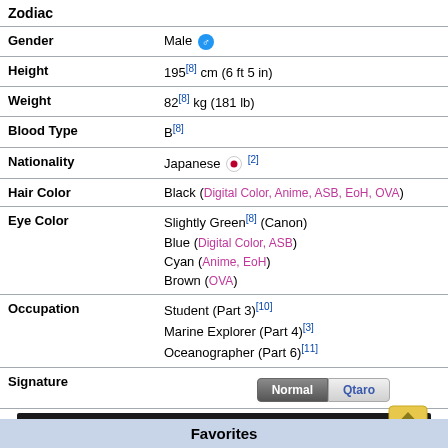| Field | Value |
| --- | --- |
| Zodiac |  |
| Gender | Male ♂ |
| Height | 195[8] cm (6 ft 5 in) |
| Weight | 82[8] kg (181 lb) |
| Blood Type | B[8] |
| Nationality | Japanese 🇯🇵 [2] |
| Hair Color | Black (Digital Color, Anime, ASB, EoH, OVA) |
| Eye Color | Slightly Green[8] (Canon)
Blue (Digital Color, ASB)
Cyan (Anime, EoH)
Brown (OVA) |
| Occupation | Student (Part 3)[10]
Marine Explorer (Part 4)[3]
Oceanographer (Part 6)[11] |
| Signature | Normal | Qtaro |
Redirected from "Jotaro Kujo/Infobox"
Favorites